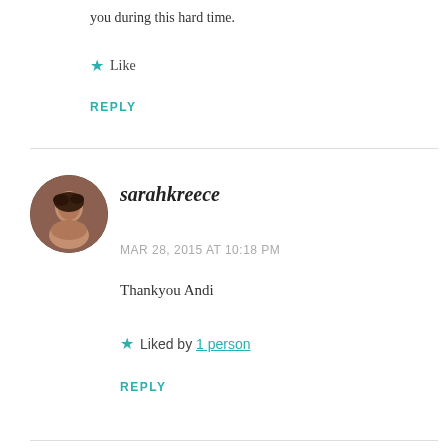you during this hard time.
★ Like
REPLY
sarahkreece
MAR 28, 2015 AT 10:18 PM
Thankyou Andi
★ Liked by 1 person
REPLY